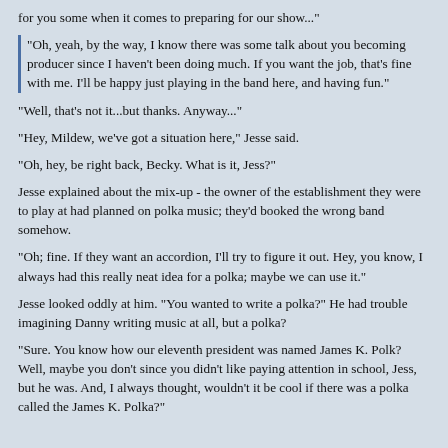for you some when it comes to preparing for our show..."
"Oh, yeah, by the way, I know there was some talk about you becoming producer since I haven't been doing much. If you want the job, that's fine with me. I'll be happy just playing in the band here, and having fun."
"Well, that's not it...but thanks. Anyway..."
"Hey, Mildew, we've got a situation here," Jesse said.
"Oh, hey, be right back, Becky. What is it, Jess?"
Jesse explained about the mix-up - the owner of the establishment they were to play at had planned on polka music; they'd booked the wrong band somehow.
"Oh; fine. If they want an accordion, I'll try to figure it out. Hey, you know, I always had this really neat idea for a polka; maybe we can use it."
Jesse looked oddly at him. "You wanted to write a polka?" He had trouble imagining Danny writing music at all, but a polka?
"Sure. You know how our eleventh president was named James K. Polk? Well, maybe you don't since you didn't like paying attention in school, Jess, but he was. And, I always thought, wouldn't it be cool if there was a polka called the James K. Polka?"